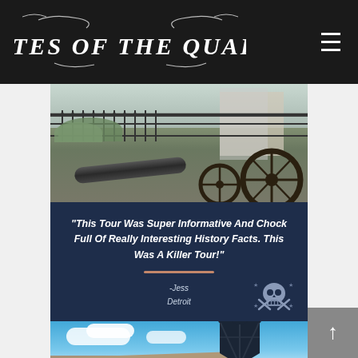PIRATES OF THE QUARTER
[Figure (photo): Outdoor photo showing a historic cannon with large iron wheel, iron fence railings, green trees and a building in background]
"This Tour Was Super Informative And Chock Full Of Really Interesting History Facts. This Was A Killer Tour!" - Jess, Detroit
[Figure (photo): Photo looking up at a historic building corner with brick facade, turquoise windows, blue sky with clouds, and a black iron lamp post in foreground]